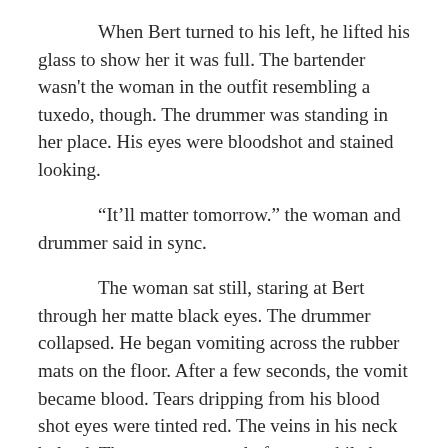When Bert turned to his left, he lifted his glass to show her it was full. The bartender wasn't the woman in the outfit resembling a tuxedo, though. The drummer was standing in her place. His eyes were bloodshot and stained looking.

“It’ll matter tomorrow.” the woman and drummer said in sync.

The woman sat still, staring at Bert through her matte black eyes. The drummer collapsed. He began vomiting across the rubber mats on the floor. After a few seconds, the vomit became blood. Tears dripping from his blood shot eyes were tinted red. The veins in his neck bulged. There was a second of peace while he inhaled an enormous breath. He then climbed to his feet, propping himself up on the bar, breaking a bottle that was pulled from the shelf. The drummer continued